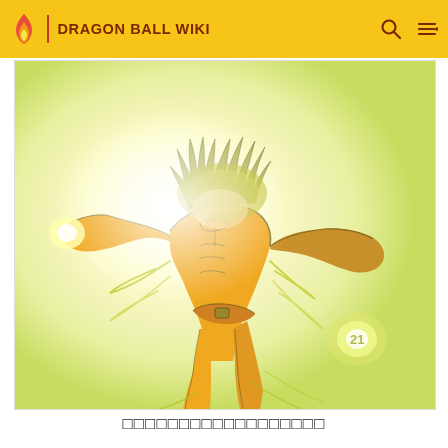DRAGON BALL WIKI
[Figure (illustration): Anime-style illustration of a glowing yellow-green powered-up fighter character with wild hair, muscular build, surrounded by energy aura, on a bright white background. The character appears to be in a fighting pose with energy emanating from their body.]
□□□□□□□□□□□□□□□□□□